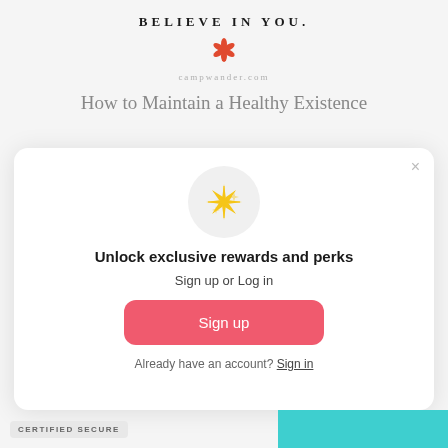BELIEVE IN YOU.
[Figure (illustration): Red/orange flower/asterisk decorative icon]
campwander.com
How to Maintain a Healthy Existence
[Figure (screenshot): Modal popup with sparkle icon, title 'Unlock exclusive rewards and perks', subtitle 'Sign up or Log in', a Sign up button, and 'Already have an account? Sign in' link with X close button]
CERTIFIED SECURE